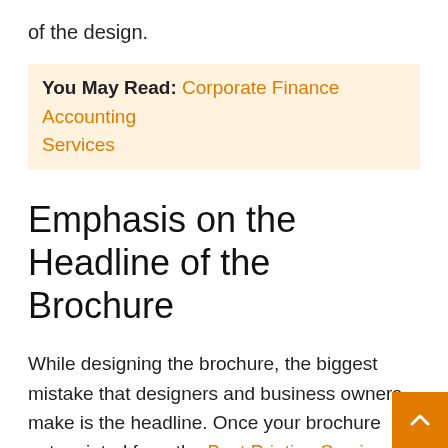of the design.
You May Read: Corporate Finance Accounting Services
Emphasis on the Headline of the Brochure
While designing the brochure, the biggest mistake that designers and business owners make is the headline. Once your brochure gets printed from the Best Printing Services and reaches the hands of your audience, the headline should sum up the whole leaflet.